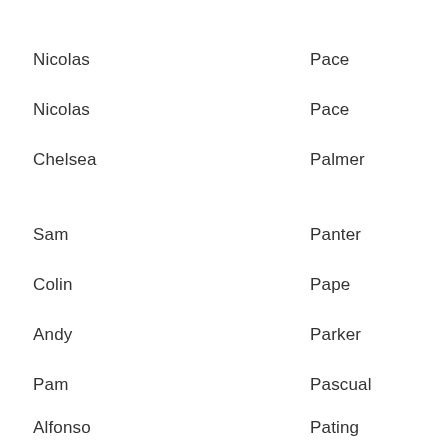Nicolas    Pace
Nicolas    Pace
Chelsea    Palmer
Sam    Panter
Colin    Pape
Andy    Parker
Pam    Pascual
Alfonso    Pating